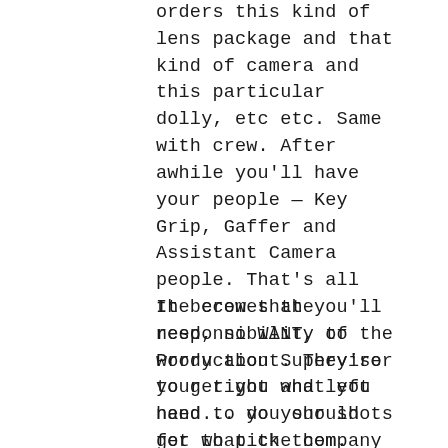orders this kind of lens package and that kind of camera and this particular dolly, etc etc. Same with crew. After awhile you'll have your people — Key Grip, Gaffer and Assistant Camera people. That's all the crew that you'll need, no WANT, to worry about. They're your right and left hand... you should get to pick them.
It becomes the responsibility of the Production Supervisor to get you what you need to do your shots for what the company has to pay for it. You tell them what you want and they will negotiate with the equipment houses and even your crew to pay what is in the budget already. Sometimes, they have to wrangle you back in with